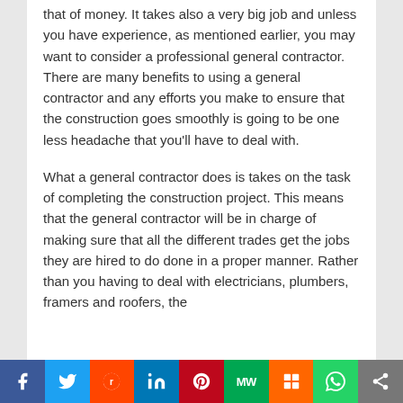that of money. It takes also a very big job and unless you have experience, as mentioned earlier, you may want to consider a professional general contractor. There are many benefits to using a general contractor and any efforts you make to ensure that the construction goes smoothly is going to be one less headache that you'll have to deal with.

What a general contractor does is takes on the task of completing the construction project. This means that the general contractor will be in charge of making sure that all the different trades get the jobs they are hired to do done in a proper manner. Rather than you having to deal with electricians, plumbers, framers and roofers, the
f | Twitter | reddit | in | Pinterest | MW | Mix | WhatsApp | Share